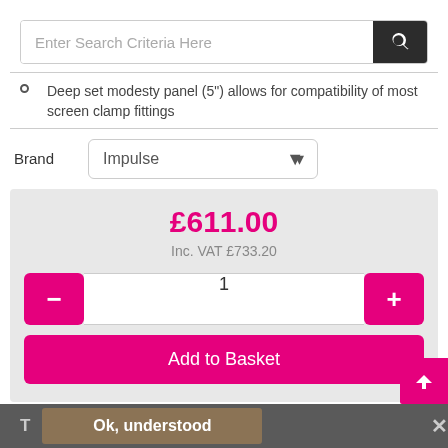[Figure (screenshot): Search bar with text input and dark search button with magnifying glass icon]
Deep set modesty panel (5") allows for compatibility of most screen clamp fittings
Brand  Impulse
£611.00
Inc. VAT £733.20
1
Add to Basket
T  Ok, understood  ✕